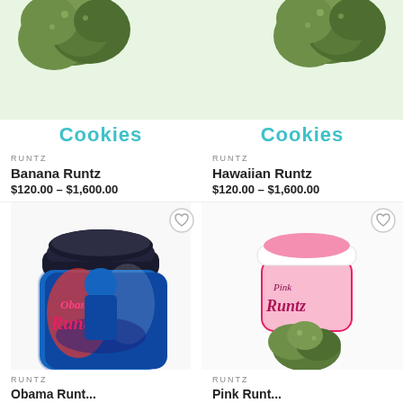[Figure (photo): Banana Runtz cannabis product with Cookies branding, green cannabis buds on top, product card with brand logo and pricing]
[Figure (photo): Hawaiian Runtz cannabis product with Cookies branding, green cannabis buds on top, product card with brand logo and pricing]
[Figure (photo): Obama Runtz cannabis jar with colorful label featuring Obama illustration, product card with RUNTZ branding]
[Figure (photo): Pink Runtz cannabis jar with pink branding and cannabis bud displayed, product card with RUNTZ branding]